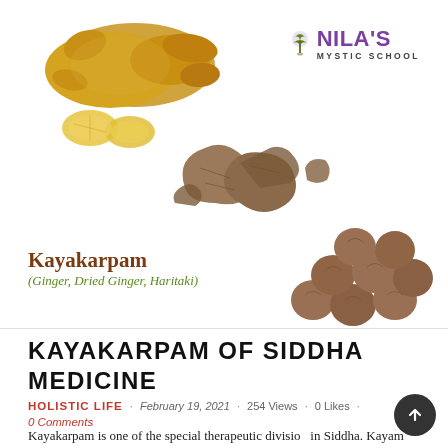[Figure (photo): Three herbs: ginger root with slices (top left), dried ginger pieces (center), and haritaki nuts (right). Brand logo for Nila's Mystic School in top right corner.]
Kayakarpam
(Ginger, Dried Ginger, Haritaki)
KAYAKARPAM OF SIDDHA MEDICINE
HOLISTIC LIFE · February 19, 2021 · 254 Views · 0 Likes · 0 Comments
Kayakarpam is one of the special therapeutic divisions in Siddha. Kayam means 'body' and Karpam means 'stone' which means keeping the body as strong as stone.